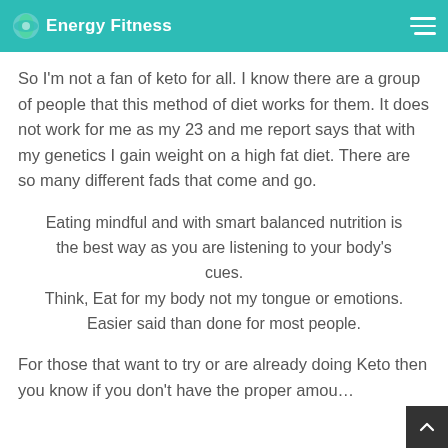Energy Fitness
So I'm not a fan of keto for all. I know there are a group of people that this method of diet works for them. It does not work for me as my 23 and me report says that with my genetics I gain weight on a high fat diet. There are so many different fads that come and go.
Eating mindful and with smart balanced nutrition is the best way as you are listening to your body's cues.
Think, Eat for my body not my tongue or emotions. Easier said than done for most people.
For those that want to try or are already doing Keto then you know if you don't have the proper amou... of...